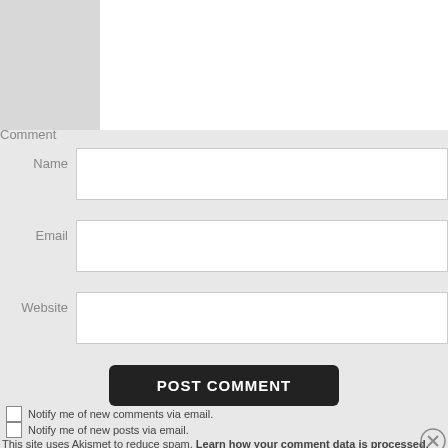Comment
Name
Email
Website
POST COMMENT
Notify me of new comments via email.
Notify me of new posts via email.
This site uses Akismet to reduce spam. Learn how your comment data is processed.
Advertisements
[Figure (screenshot): DuckDuckGo advertisement banner: orange left panel reading 'Search, browse, and email with more privacy. All in One Free App', dark right panel with DuckDuckGo logo and duck icon.]